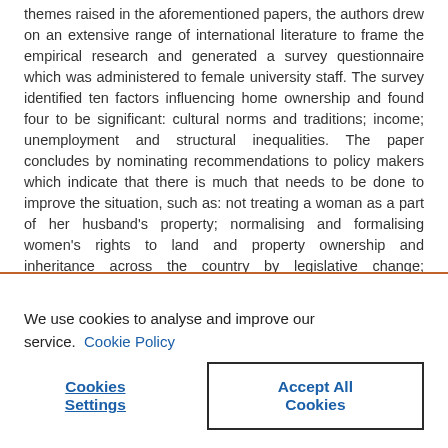themes raised in the aforementioned papers, the authors drew on an extensive range of international literature to frame the empirical research and generated a survey questionnaire which was administered to female university staff. The survey identified ten factors influencing home ownership and found four to be significant: cultural norms and traditions; income; unemployment and structural inequalities. The paper concludes by nominating recommendations to policy makers which indicate that there is much that needs to be done to improve the situation, such as: not treating a woman as a part of her husband's property; normalising and formalising women's rights to land and property ownership and inheritance across the country by legislative change; improving employment opportunities for women – of which are recognised as having a
We use cookies to analyse and improve our service. Cookie Policy
Cookies Settings
Accept All Cookies